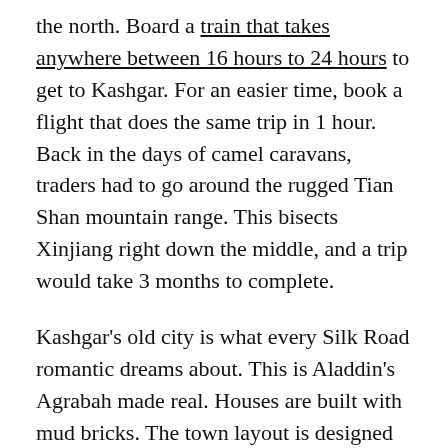the north. Board a train that takes anywhere between 16 hours to 24 hours to get to Kashgar. For an easier time, book a flight that does the same trip in 1 hour. Back in the days of camel caravans, traders had to go around the rugged Tian Shan mountain range. This bisects Xinjiang right down the middle, and a trip would take 3 months to complete.
Kashgar's old city is what every Silk Road romantic dreams about. This is Aladdin's Agrabah made real. Houses are built with mud bricks. The town layout is designed with maze-like lanes and hidden alleys. Muslim arches, minarets and intricately coloured doors decorate the facade. Alas, some part of the wonder dies when you realise that this remarkably well-preserved city is almost artificial. But don't let that distract you – the people, the culture and the lifestyle of the locals living there is very real.